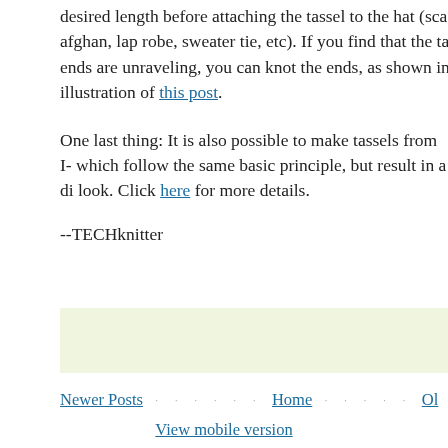desired length before attaching the tassel to the hat (sca afghan, lap robe, sweater tie, etc). If you find that the ta ends are unraveling, you can knot the ends, as shown in illustration of this post.
One last thing: It is also possible to make tassels from I- which follow the same basic principle, but result in a di look. Click here for more details.
--TECHknitter
Newer Posts · · · · · · Home · · · · · Ol...  View mobile version